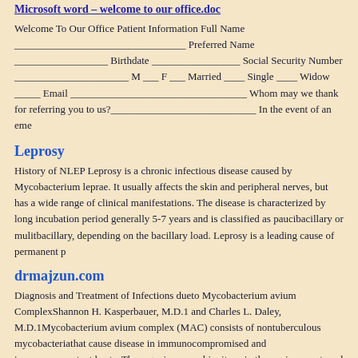Microsoft word – welcome to our office.doc
Welcome To Our Office Patient Information Full Name _________________________________ Preferred Name __________________ Birthdate _________________ Social Security Number ______________________ M ___ F ___ Married ____ Single ____ Widow _____ Email __________________________________ Whom may we thank for referring you to us?____________________________ In the event of an eme
Leprosy
History of NLEP Leprosy is a chronic infectious disease caused by Mycobacterium leprae. It usually affects the skin and peripheral nerves, but has a wide range of clinical manifestations. The disease is characterized by long incubation period generally 5-7 years and is classified as paucibacillary or mulitbacillary, depending on the bacillary load. Leprosy is a leading cause of permanent p
drmajzun.com
Diagnosis and Treatment of Infections dueto Mycobacterium avium ComplexShannon H. Kasperbauer, M.D.1 and Charles L. Daley, M.D.1Mycobacterium avium complex (MAC) consists of nontuberculous mycobacteriathat cause disease in immunocompromised and immunocompetent hosts. The organismsare ubiquitous in the environment, and acquisition occurs through ingestion or inhalationof aerosols from soil, wate